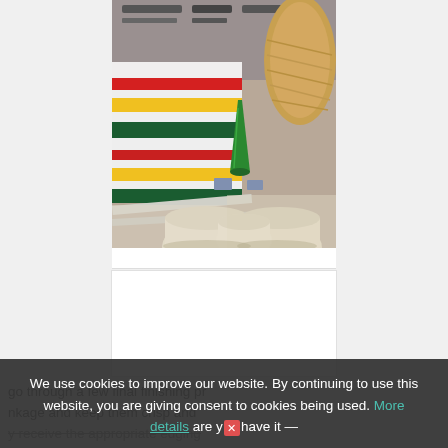[Figure (photo): Factory or textile manufacturing facility photo showing spools of cream-colored thread/yarn and a green cone-shaped spool. Colorful striped fabric or material (red, yellow, white, dark green stripes) visible in the background along with textile machinery.]
go through a few final finishing pr nkage and keep them crisp and y receive the appropriate edging
We use cookies to improve our website. By continuing to use this website, you are giving consent to cookies being used. More details are you have it —